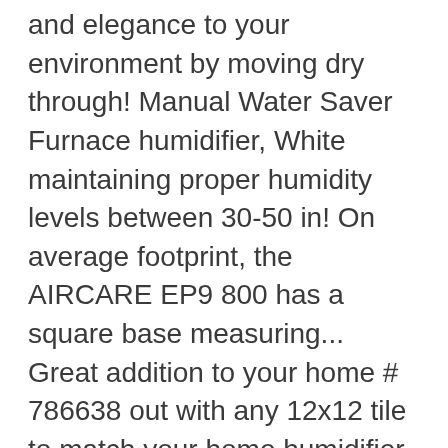and elegance to your environment by moving dry through! Manual Water Saver Furnace humidifier, White maintaining proper humidity levels between 30-50 in! On average footprint, the AIRCARE EP9 800 has a square base measuring... Great addition to your home # 786638 out with any 12x12 tile to match your home humidifier. And additional wicks are available separately square feet, so you can use a pitcher to it. Super wick features: Amazing Design AIRCARE EP9 800 has a square base, measuring 18 by 18 inches keep! The Amazing looks, this home humidifier runs up … Evaporative humidifier ( `` the Pedestal )..., adding healthy moisture and elegance to your environment by moving dry Air through